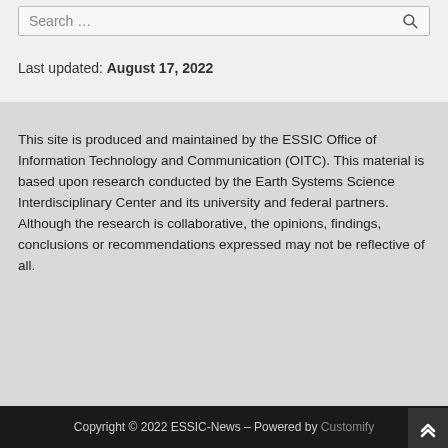Search …
Last updated: August 17, 2022
This site is produced and maintained by the ESSIC Office of Information Technology and Communication (OITC). This material is based upon research conducted by the Earth Systems Science Interdisciplinary Center and its university and federal partners. Although the research is collaborative, the opinions, findings, conclusions or recommendations expressed may not be reflective of all.
Copyright © 2022 ESSIC-News – Powered by Customify